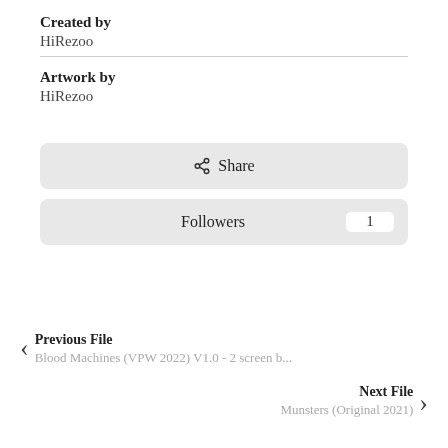Created by
HiRezoo
Artwork by
HiRezoo
Share
Followers 1
Previous File
Blood Machines (VPW 2022) V1.0 - 2 screen b...
Next File
Munsters (Original 2021)